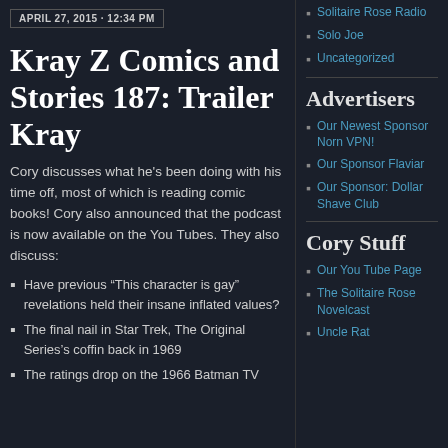APRIL 27, 2015 · 12:34 PM
Kray Z Comics and Stories 187: Trailer Kray
Cory discusses what he’s been doing with his time off, most of which is reading comic books! Cory also announced that the podcast is now available on the You Tubes. They also discuss:
Have previous “This character is gay” revelations held their insane inflated values?
The final nail in Star Trek, The Original Series’s coffin back in 1969
The ratings drop on the 1966 Batman TV
Solitaire Rose Radio
Solo Joe
Uncategorized
Advertisers
Our Newest Sponsor Norn VPN!
Our Sponsor Flaviar
Our Sponsor: Dollar Shave Club
Cory Stuff
Our You Tube Page
The Solitaire Rose Novelcast
Uncle Rat